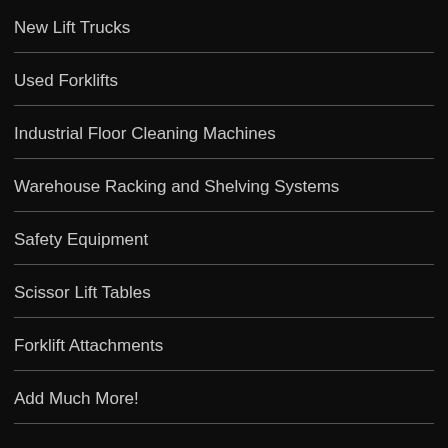New Lift Trucks
Used Forklifts
Industrial Floor Cleaning Machines
Warehouse Racking and Shelving Systems
Safety Equipment
Scissor Lift Tables
Forklift Attachments
Add Much More!